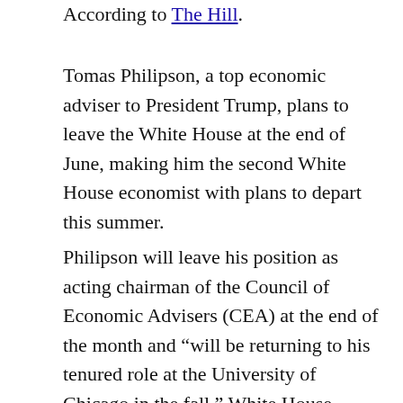According to The Hill.
Tomas Philipson, a top economic adviser to President Trump, plans to leave the White House at the end of June, making him the second White House economist with plans to depart this summer.
Philipson will leave his position as acting chairman of the Council of Economic Advisers (CEA) at the end of the month and “will be returning to his tenured role at the University of Chicago in the fall,” White House spokesman Judd Deere said in an emailed statement. The development